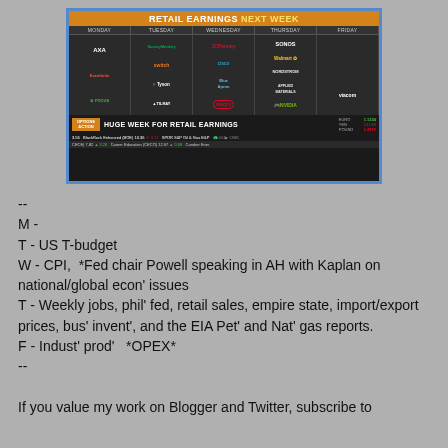[Figure (screenshot): CNBC TV screenshot showing 'RETAIL EARNINGS NEXT WEEK' with company logos arranged by weekday (Monday through Friday) including AXA, SurveyMonkey, JCPenney, Sonos, Switch, Cisco, Walmart, Viacom, Eventbrite, Home Depot, Blue Apron, Nordstrom, Applied Materials, Tyson, Focus, Tilray, Macy's, Nvidia. Bottom banner reads 'HUGE WEEK FOR RETAIL EARNINGS' on Options Action segment, with currency rates (EURO 1.1334, YEN 111.02, POUND 1.2975) and stock ticker.]
--
M -
T - US T-budget
W - CPI,  *Fed chair Powell speaking in AH with Kaplan on national/global econ' issues
T - Weekly jobs, phil' fed, retail sales, empire state, import/export prices, bus' invent', and the EIA Pet' and Nat' gas reports.
F - Indust' prod'   *OPEX*
--

If you value my work on Blogger and Twitter, subscribe to